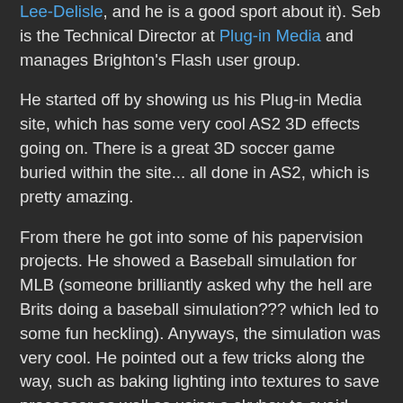Lee-Delisle, and he is a good sport about it). Seb is the Technical Director at Plug-in Media and manages Brighton's Flash user group.
He started off by showing us his Plug-in Media site, which has some very cool AS2 3D effects going on. There is a great 3D soccer game buried within the site... all done in AS2, which is pretty amazing.
From there he got into some of his papervision projects. He showed a Baseball simulation for MLB (someone brilliantly asked why the hell are Brits doing a baseball simulation??? which led to some fun heckling). Anyways, the simulation was very cool. He pointed out a few tricks along the way, such as baking lighting into textures to save processor as well as using a skybox to avoid huge ambient scenery. He then went on to show us a Big/Small character game. Its a very slick interactive game targeted towards 4-6 year olds (but you can bet that I will be playing it too :) ). It looked incredible. One example he showed us he was doing some finger paintings and then just tossed the paper on the floor. For the rest of the game, his painting just lay there in the